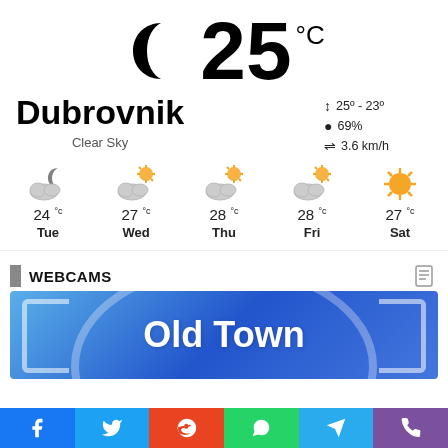[Figure (infographic): Weather app screenshot for Dubrovnik showing current temperature 25°C, Clear Sky, moon icon, forecast for Tue-Sat, webcams section with Old Town label, and social sharing bar]
25 °C
Dubrovnik
Clear Sky
25° - 23°
69%
3.6 km/h
24°C Tue
27°C Wed
28°C Thu
28°C Fri
27°C Sat
WEBCAMS
[Figure (screenshot): Webcam preview showing Old Town label on blue gradient background with bracket overlay]